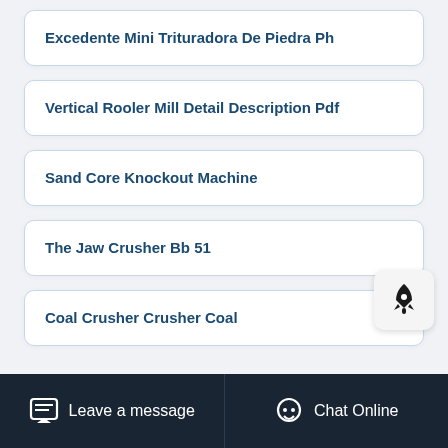Excedente Mini Trituradora De Piedra Ph
Vertical Rooler Mill Detail Description Pdf
Sand Core Knockout Machine
The Jaw Crusher Bb 51
Coal Crusher Crusher Coal
Leave a message   Chat Online